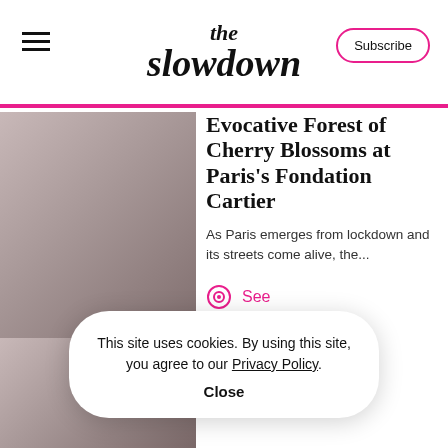the slowdown
Evocative Forest of Cherry Blossoms at Paris's Fondation Cartier
As Paris emerges from lockdown and its streets come alive, the...
See
[Figure (photo): Gray/taupe blurred image placeholder for article thumbnail]
Doree Shafrir's Singular, and Unconventional
[Figure (photo): Gray/taupe blurred image placeholder for second article thumbnail]
This site uses cookies. By using this site, you agree to our Privacy Policy. Close